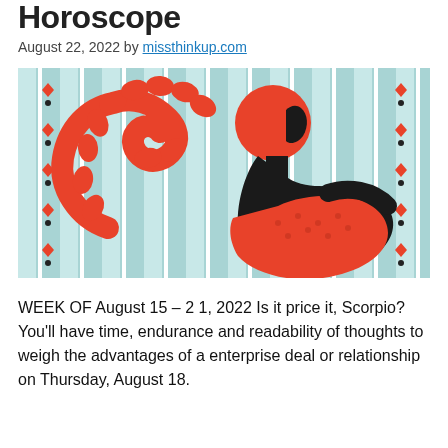Horoscope
August 22, 2022 by missthinkup.com
[Figure (illustration): Stylized illustration of a Scorpio woman with red hair in an updo, wearing a red dress, posed against a retro teal striped background with red and black diamond patterns. A large red scorpion claw/tail symbol curves around her on the left.]
WEEK OF August 15 – 2 1, 2022 Is it price it, Scorpio? You'll have time, endurance and readability of thoughts to weigh the advantages of a enterprise deal or relationship on Thursday, August 18.